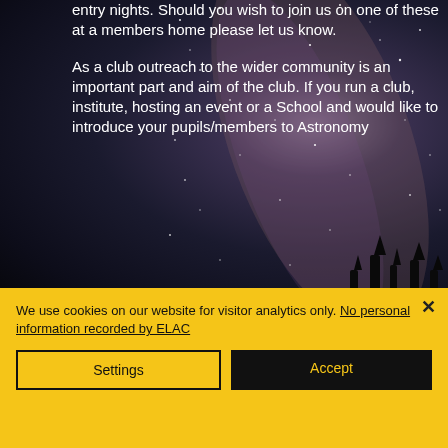[Figure (photo): Starry night sky with Milky Way visible, dark background with scattered stars and nebula colors in purple and brown tones. Trees silhouetted at bottom right. Left side has a white/light grey vertical strip.]
entry nights. Should you wish to join us on one of these at a members home please let us know.
As a club outreach to the wider community is an important part and aim of the club. If you run a club, institute, hosting an event or a School and would like to introduce your pupils/members to Astronomy
We use cookies on our website for visitor analytics only. No personal information recorded by ELAC
Settings
Accept